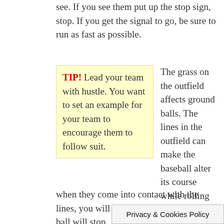see. If you see them put up the stop sign, stop. If you get the signal to go, be sure to run as fast as possible.
TIP! Lead your team with hustle. You want to set an example for your team to encourage them to follow suit.
The grass on the outfield affects ground balls. The lines in the outfield can make the baseball alter its course while rolling on the ground. By figuring out how balls move when they come into contact with the lines, you will be able to get to where the ball will stop.
Reach the glove out towards that throw coming up, making sure that one foot remains on the base at all times.
Don't field grounders by reaching across your body to catch grounders. Shuffle left to right to get the gloved hand ahead of the ba
Privacy & Cookies Policy